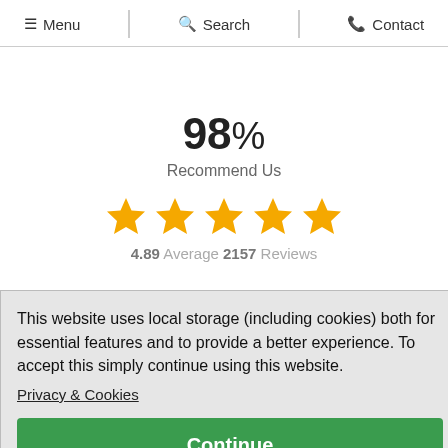☰ Menu  🔍 Search  📞 Contact
98% Recommend Us
[Figure (other): Five gold stars rating display]
4.89 Average 2157 Reviews
This website uses local storage (including cookies) both for essential features and to provide a better experience. To accept this simply continue using this website.
Privacy & Cookies
Continue
Gift Box was all wrapped up with tissue containing gift and the parcel itself - no chance of damage during